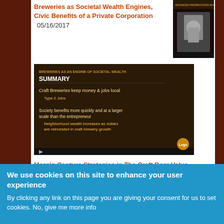Breweries as Societal Wealth Engines, Civic Benefits of a Private Corporation   05/16/2017
[Figure (screenshot): Thumbnail of a presentation slide showing a speaker in front of a dark background, labeled Advanced Perspectives in Flan]
[Figure (screenshot): Video thumbnail showing a dark brown presentation slide with the title SUMMARY. Text reads: Craft Breweries keep money & jobs local, Type 2 Jobs. Society benefits more quickly and at a larger scale than the entrepreneur. Neighborhood wealth increases as dollars are reinvested in craft brewery growth.]
Margin Capture Strategies in The Craft Beer Value Chain: Multi-Business Model Strategy Slides   04/15/2014
[Figure (screenshot): Video thumbnail showing dark background with THE VALUE CHAIN - MULTIPLE BUSINESS MODELS heading. Icons showing different business models: taproom & tasting room, self-distribution, brewpub, and food truck.]
We use cookies on this site to enhance your user experience
By clicking any link on this page you are giving your consent for us to set cookies. No, give me more info